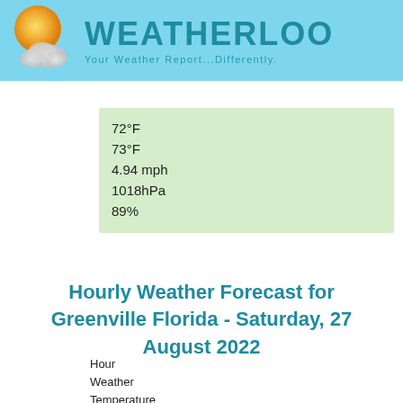[Figure (logo): Weatherloo logo with sun and cloud graphic and text 'WEATHERLOO - Your Weather Report...Differently.']
72°F
73°F
4.94 mph
1018hPa
89%
Hourly Weather Forecast for Greenville Florida - Saturday, 27 August 2022
Hour
Weather
Temperature
Feels like
Wind
Pressure
Humidity